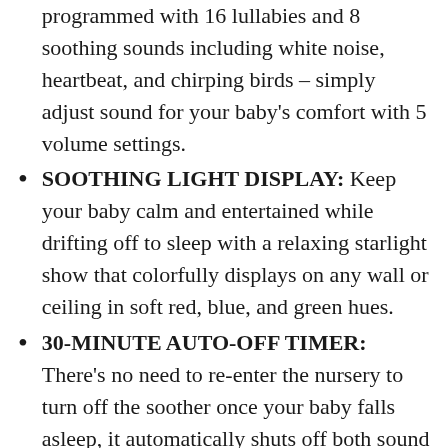programmed with 16 lullabies and 8 soothing sounds including white noise, heartbeat, and chirping birds – simply adjust sound for your baby's comfort with 5 volume settings.
SOOTHING LIGHT DISPLAY: Keep your baby calm and entertained while drifting off to sleep with a relaxing starlight show that colorfully displays on any wall or ceiling in soft red, blue, and green hues.
30-MINUTE AUTO-OFF TIMER: There's no need to re-enter the nursery to turn off the soother once your baby falls asleep, it automatically shuts off both sound and light after 30 minutes to help preserve battery life (Powered by 3 AAA batteries, not included).
INDEPENDENT SOUND & LIGHT: Want soothing music without the light display, or the starlight